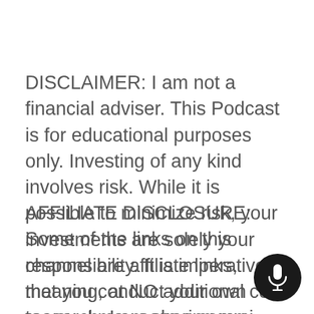DISCLAIMER: I am not a financial adviser. This Podcast is for educational purposes only. Investing of any kind involves risk. While it is possible to minimize risk, your investments are solely your responsibility. It is imperative that you conduct your own research. I am sharing my opinion.
AFFILIATE DISCLOSURE: Some of the links on this channel are affiliate links, meaning, at NO additional cost to you, I may earn a commission if you click through and make a purchase and/or subscribe. However, this does not impact my